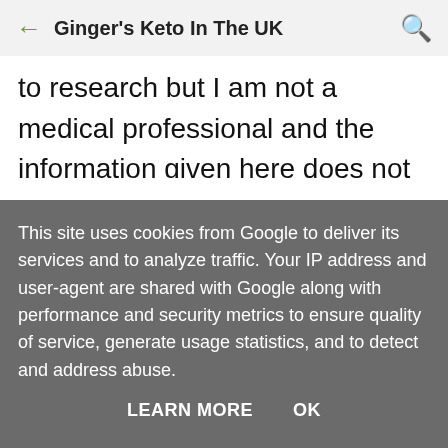Ginger's Keto In The UK
to research but I am not a medical professional and the information given here does not constitute medical advice. If you embark on a lifestyle change please do consult your doctor first.
KETO
This site uses cookies from Google to deliver its services and to analyze traffic. Your IP address and user-agent are shared with Google along with performance and security metrics to ensure quality of service, generate usage statistics, and to detect and address abuse.
LEARN MORE   OK